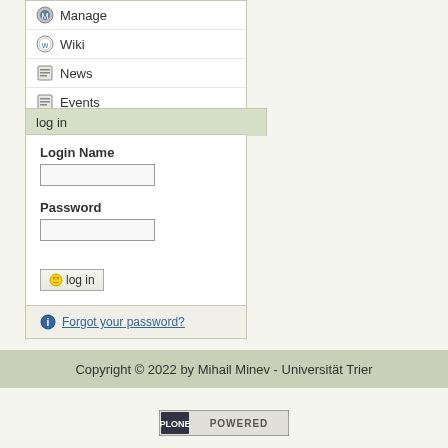Manage
Wiki
News
Events
log in
Login Name
Password
log in
Forgot your password?
Copyright © 2022 by Mihail Minev - Universität Trier
[Figure (logo): Plone Powered logo badge]